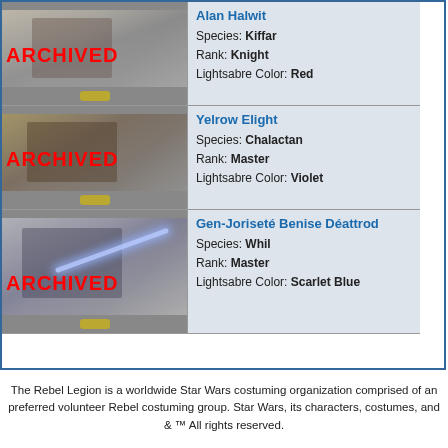| Image | Character Info |
| --- | --- |
| [ARCHIVED photo] | Alan Halwit
Species: Kiffar
Rank: Knight
Lightsabre Color: Red |
| [ARCHIVED photo] | Yelrow Elight
Species: Chalactan
Rank: Master
Lightsabre Color: Violet |
| [ARCHIVED photo] | Gen-Joriseté Benise Déattrod
Species: Whil
Rank: Master
Lightsabre Color: Scarlet Blue |
The Rebel Legion is a worldwide Star Wars costuming organization comprised of an preferred volunteer Rebel costuming group. Star Wars, its characters, costumes, and & ™ All rights reserved.